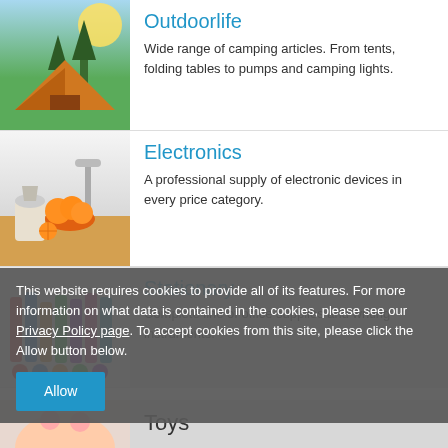[Figure (photo): Outdoor camping scene with orange tent, trees and sunlight]
Outdoorlife
Wide range of camping articles. From tents, folding tables to pumps and camping lights.
[Figure (photo): Kitchen counter with citrus juicer, bowl of oranges, and sink]
Electronics
A professional supply of electronic devices in every price category.
[Figure (photo): Colorful markers and stationery supplies]
Stationary
Complete line of office supplies and writing instruments.
This website requires cookies to provide all of its features. For more information on what data is contained in the cookies, please see our Privacy Policy page. To accept cookies from this site, please click the Allow button below.
[Figure (photo): Child's face partially visible, toys section]
Toys